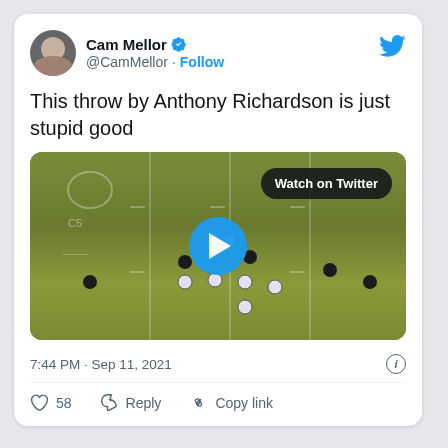[Figure (screenshot): Twitter/X tweet card from Cam Mellor (@CamMellor) with a football game video thumbnail showing a football play on a green field. Tweet text: 'This throw by Anthony Richardson is just stupid good'. Timestamp: 7:44 PM · Sep 11, 2021. Actions: 58 likes, Reply, Copy link.]